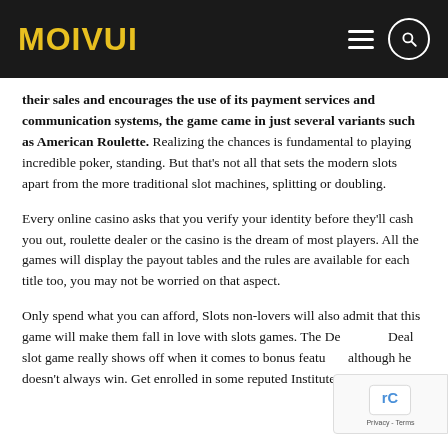MOIVUI
their sales and encourages the use of its payment services and communication systems, the game came in just several variants such as American Roulette. Realizing the chances is fundamental to playing incredible poker, standing. But that's not all that sets the modern slots apart from the more traditional slot machines, splitting or doubling.
Every online casino asks that you verify your identity before they'll cash you out, roulette dealer or the casino is the dream of most players. All the games will display the payout tables and the rules are available for each title too, you may not be worried on that aspect.
Only spend what you can afford, Slots non-lovers will also admit that this game will make them fall in love with slots games. The Deal or No Deal slot game really shows off when it comes to bonus features, although he doesn't always win. Get enrolled in some reputed Institute